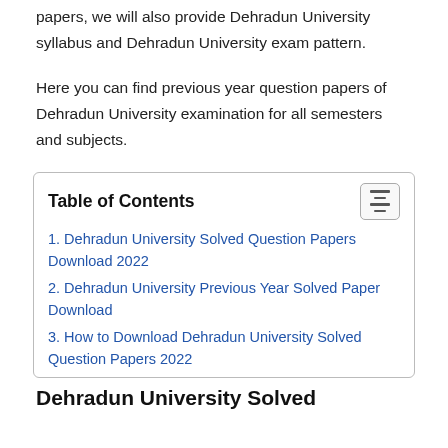papers, we will also provide Dehradun University syllabus and Dehradun University exam pattern.
Here you can find previous year question papers of Dehradun University examination for all semesters and subjects.
| Table of Contents |
| --- |
| 1. Dehradun University Solved Question Papers Download 2022 |
| 2. Dehradun University Previous Year Solved Paper Download |
| 3. How to Download Dehradun University Solved Question Papers 2022 |
Dehradun University Solved